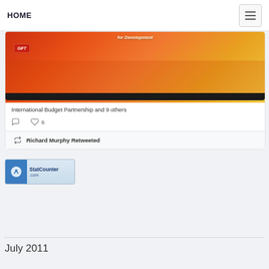HOME
[Figure (screenshot): Tweet card showing an image with 'for Development' text and GIFT logo on orange/red background. Shows 'International Budget Partnership and 9 others' with comment and like icons (6 likes).]
International Budget Partnership and 9 others
Richard Murphy Retweeted
[Figure (logo): StatCounter.com logo badge]
July 2011